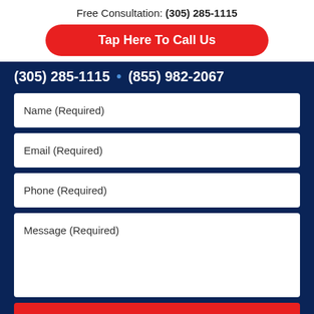Free Consultation: (305) 285-1115
Tap Here To Call Us
(305) 285-1115 • (855) 982-2067
Name (Required)
Email (Required)
Phone (Required)
Message (Required)
CONTACT US NOW